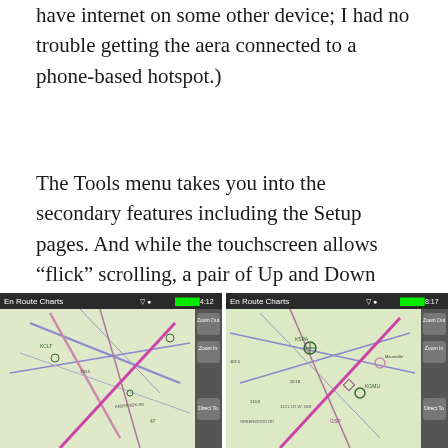have internet on some other device; I had no trouble getting the aera connected to a phone-based hotspot.)
The Tools menu takes you into the secondary features including the Setup pages. And while the touchscreen allows “flick” scrolling, a pair of Up and Down buttons persist on every screen, as does a Back button to help you reclaim the Main Menu without getting lost. Overall, Garmin has managed to keep the menus simple and self-explanatory.
[Figure (screenshot): Two side-by-side screenshots of aviation GPS device showing En Route Charts with aeronautical map data, airways, and navigation controls. Left screenshot shows a zoomed-out view; right screenshot shows a more zoomed-in view of a different area.]